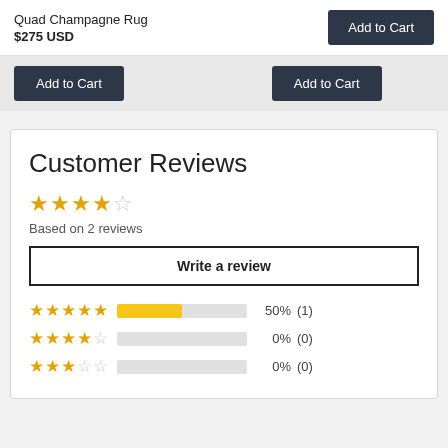Quad Champagne Rug
$275 USD
Add to Cart (top right)
Add to Cart (left)
Add to Cart (right)
Customer Reviews
★★★★☆ Based on 2 reviews
Write a review
[Figure (bar-chart): Rating distribution]